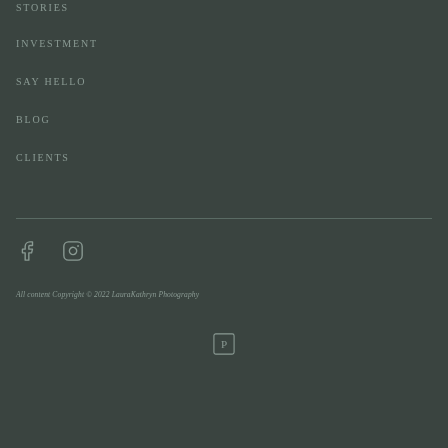STORIES
INVESTMENT
SAY HELLO
BLOG
CLIENTS
[Figure (other): Facebook and Instagram social media icons]
All content Copyright © 2022 LauraKathryn Photography
[Figure (other): Small square icon with letter P (Pinterest or similar)]